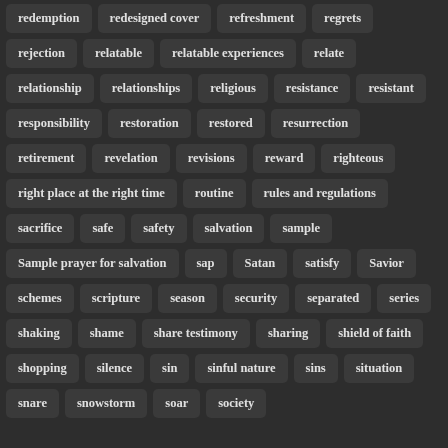redemption
redesigned cover
refreshment
regrets
rejection
relatable
relatable experiences
relate
relationship
relationships
religious
resistance
resistant
responsibility
restoration
restored
resurrection
retirement
revelation
revisions
reward
righteous
right place at the right time
routine
rules and regulations
sacrifice
safe
safety
salvation
sample
Sample prayer for salvation
sap
Satan
satisfy
Savior
schemes
scripture
season
security
separated
series
shaking
shame
share testimony
sharing
shield of faith
shopping
silence
sin
sinful nature
sins
situation
snare
snowstorm
soar
society